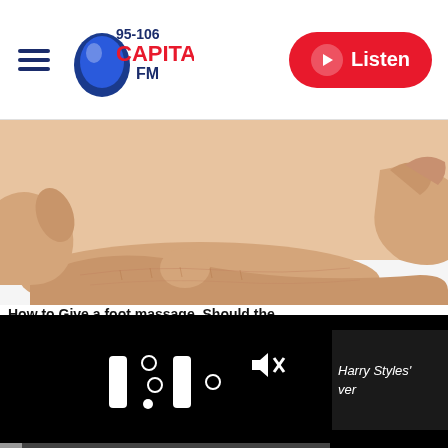Capital FM 95-106 | Listen
[Figure (photo): Close-up photograph of hands performing a foot/ankle massage on a white background]
Harry Styles'...ver
[Figure (screenshot): Video player showing paused state with pause icon and mute icon on black background, with progress bar at bottom]